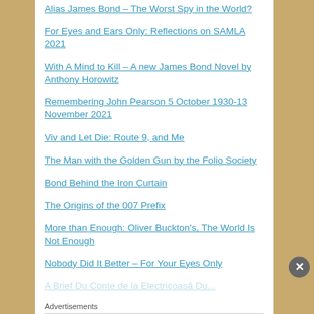Alias James Bond – The Worst Spy in the World?
For Eyes and Ears Only: Reflections on SAMLA 2021
With A Mind to Kill – A new James Bond Novel by Anthony Horowitz
Remembering John Pearson 5 October 1930-13 November 2021
Viv and Let Die: Route 9, and Me
The Man with the Golden Gun by the Folio Society
Bond Behind the Iron Curtain
The Origins of the 007 Prefix
More than Enough: Oliver Buckton's, The World Is Not Enough
Nobody Did It Better – For Your Eyes Only
Advertisements
[Figure (photo): MAC cosmetics advertisement showing lipsticks in purple, pink, and red colors with MAC logo and SHOP NOW button]